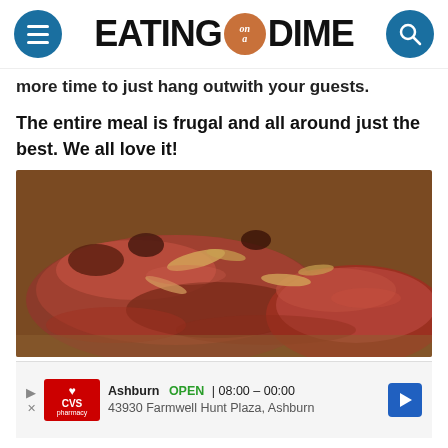EATING on a DIME
more time to just hang outwith your guests.
The entire meal is frugal and all around just the best. We all love it!
[Figure (photo): Close-up photo of braised or slow-cooked beef short ribs with caramelized onions and juices, on a wooden surface.]
Ashburn OPEN | 08:00 – 00:00
43930 Farmwell Hunt Plaza, Ashburn